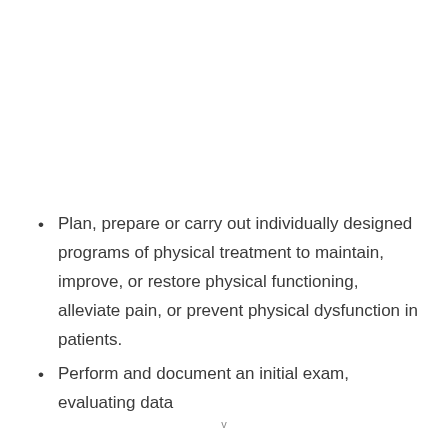Plan, prepare or carry out individually designed programs of physical treatment to maintain, improve, or restore physical functioning, alleviate pain, or prevent physical dysfunction in patients.
Perform and document an initial exam, evaluating data